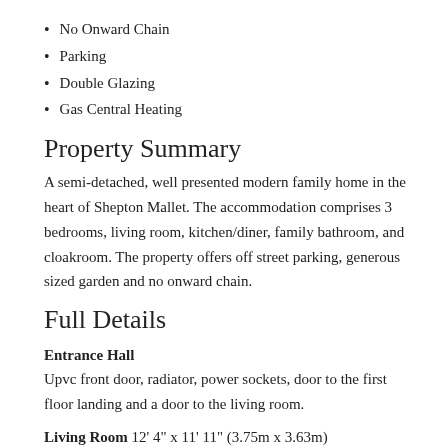No Onward Chain
Parking
Double Glazing
Gas Central Heating
Property Summary
A semi-detached, well presented modern family home in the heart of Shepton Mallet. The accommodation comprises 3 bedrooms, living room, kitchen/diner, family bathroom, and cloakroom. The property offers off street parking, generous sized garden and no onward chain.
Full Details
Entrance Hall
Upvc front door, radiator, power sockets, door to the first floor landing and a door to the living room.
Living Room 12' 4" x 11' 11" (3.75m x 3.63m)
Double glazed window to the front, power sockets, telephone